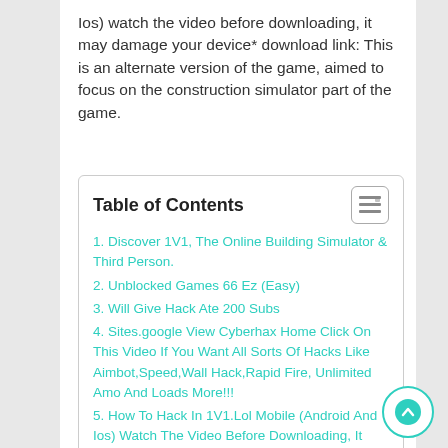Ios) watch the video before downloading, it may damage your device* download link: This is an alternate version of the game, aimed to focus on the construction simulator part of the game.
Table of Contents
1. Discover 1V1, The Online Building Simulator & Third Person.
2. Unblocked Games 66 Ez (Easy)
3. Will Give Hack Ate 200 Subs
4. Sites.google View Cyberhax Home Click On This Video If You Want All Sorts Of Hacks Like Aimbot,Speed,Wall Hack,Rapid Fire, Unlimited Amo And Loads More!!!
5. How To Hack In 1V1.Lol Mobile (Android And Ios) Watch The Video Before Downloading, It May Damage Your Device* Download Link:
6. Related posts: